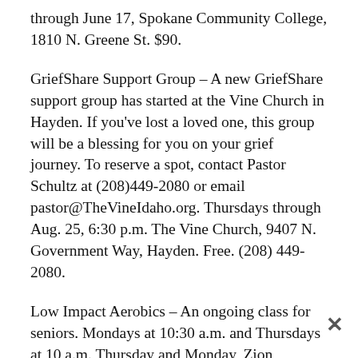through June 17, Spokane Community College, 1810 N. Greene St. $90.
GriefShare Support Group – A new GriefShare support group has started at the Vine Church in Hayden. If you've lost a loved one, this group will be a blessing for you on your grief journey. To reserve a spot, contact Pastor Schultz at (208)449-2080 or email pastor@TheVineIdaho.org. Thursdays through Aug. 25, 6:30 p.m. The Vine Church, 9407 N. Government Way, Hayden. Free. (208) 449-2080.
Low Impact Aerobics – An ongoing class for seniors. Mondays at 10:30 a.m. and Thursdays at 10 a.m. Thursday and Monday, Zion Lutheran Church, 8304 E. Buckeye Ave., Spokane Valley. Free. (509) 926-5407.
Riverfront Moves – Join Core4Collective for powerful